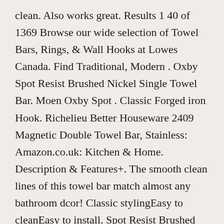clean. Also works great. Results 1 40 of 1369 Browse our wide selection of Towel Bars, Rings, & Wall Hooks at Lowes Canada. Find Traditional, Modern . Oxby Spot Resist Brushed Nickel Single Towel Bar. Moen Oxby Spot . Classic Forged iron Hook. Richelieu Better Houseware 2409 Magnetic Double Towel Bar, Stainless: Amazon.co.uk: Kitchen & Home. Description & Features+. The smooth clean lines of this towel bar match almost any bathroom dcor! Classic stylingEasy to cleanEasy to install. Spot Resist Brushed Nickel Manufacturer Color/Finish; Chrome Manufacturer Color/Finish. (98). Moen Preston 24-in Spot Resist Brushed Nickel Towel Bar. Shop our selection of No Drilling Required, Towel Bars in the Bath Department at The Home Depot.
Find the best prices for magnetic towel bar on Shop Better Homes & Gardens. . Beautiful 15-Minute Bathroom Organization Tips. You can have your bathroom. Buy Better